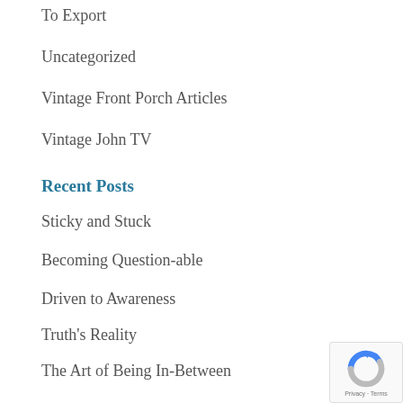To Export
Uncategorized
Vintage Front Porch Articles
Vintage John TV
Recent Posts
Sticky and Stuck
Becoming Question-able
Driven to Awareness
Truth's Reality
The Art of Being In-Between
The WITH in LEADERSHIP
A Periodic Perspective